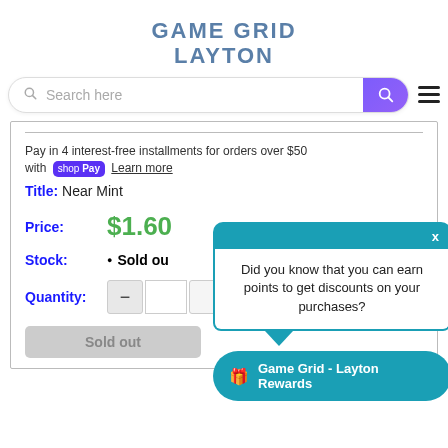[Figure (logo): GameGrid Layton logo in blue-grey block lettering]
[Figure (screenshot): Search bar with magnifying glass icon and purple gradient search button, plus hamburger menu icon]
Pay in 4 interest-free installments for orders over $50 with shop Pay Learn more
Title: Near Mint
Price: $1.60
Stock: • Sold out
Quantity: −
[Figure (screenshot): Teal tooltip popup saying 'Did you know that you can earn points to get discounts on your purchases?' with X close button, and a 'Game Grid - Layton Rewards' teal pill button below]
Sold out